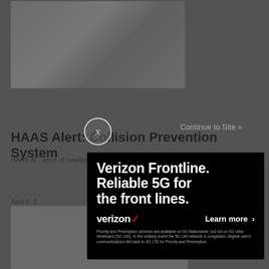[Figure (screenshot): Background webpage showing a partially visible article about HAAS Alert Collision Prevention System with a photo at the top, article title, partial text, date, and a bottom image section. The page is dimmed behind an ad overlay.]
[Figure (infographic): Verizon Frontline advertisement overlay on black background. Headline: 'Verizon Frontline. Reliable 5G for the front lines.' Verizon logo with red checkmark. 'Learn more >' button. Disclaimer text about Priority and Preemption services on 5G Nationwide.]